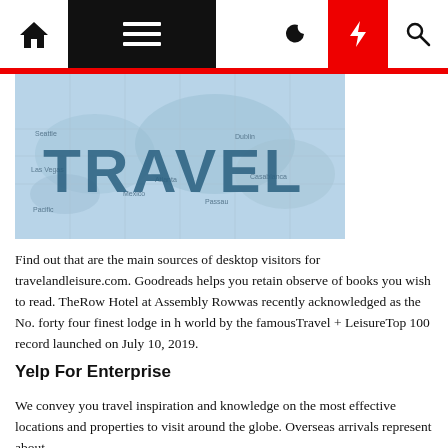[Figure (screenshot): Website navigation bar with home icon, hamburger menu on black background, moon icon, red lightning bolt icon, and search icon]
[Figure (photo): Travel banner image showing a world map with the word TRAVEL in large blue letters overlaid on it]
Find out that are the main sources of desktop visitors for travelandleisure.com. Goodreads helps you retain observe of books you wish to read. TheRow Hotel at Assembly Rowwas recently acknowledged as the No. forty four finest lodge in h world by the famousTravel + LeisureTop 100 record launched on July 10, 2019.
Yelp For Enterprise
We convey you travel inspiration and knowledge on the most effective locations and properties to visit around the globe. Overseas arrivals represent about